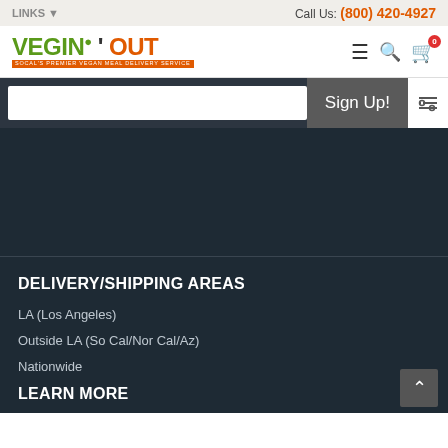LINKS ▼    Call Us: (800) 420-4927
[Figure (logo): Vegin' Out logo - green and orange text with tagline]
Sign Up!
DELIVERY/SHIPPING AREAS
LA (Los Angeles)
Outside LA (So Cal/Nor Cal/Az)
Nationwide
LEARN MORE